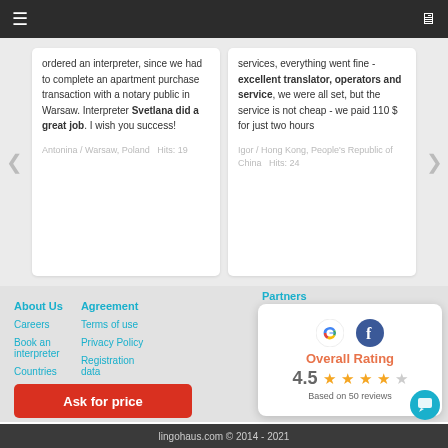Navigation bar with hamburger menu and monitor icon
ordered an interpreter, since we had to complete an apartment purchase transaction with a notary public in Warsaw. Interpreter Svetlana did a great job. I wish you success!
Antonina / Warsaw, Poland   Hits: 19
services, everything went fine - excellent translator, operators and service, we were all set, but the service is not cheap - we paid 110 $ for just two hours
Igor / Hong Kong, People's Republic of China   Hits: 24
Partners
About Us
Careers
Book an interpreter
Countries
Agreement
Terms of use
Privacy Policy
Registration data
[Figure (infographic): Rating card with Google and Facebook logos, Overall Rating text, 4.5 stars out of 5, Based on 50 reviews]
Ask for price
lingohaus.com © 2014 - 2021